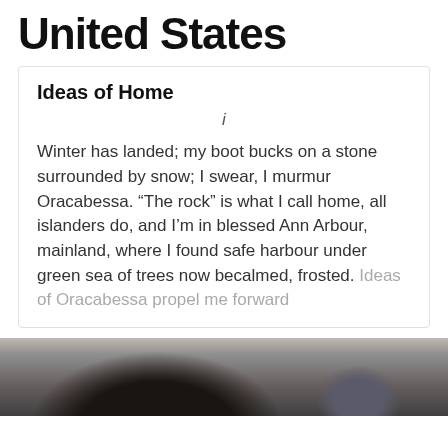United States
Ideas of Home
i
Winter has landed; my boot bucks on a stone surrounded by snow; I swear, I murmur Oracabessa. “The rock” is what I call home, all islanders do, and I’m in blessed Ann Arbour, mainland, where I found safe harbour under green sea of trees now becalmed, frosted. Ideas of Oracabessa propel me forward
[Figure (photo): Bottom portion of photo showing a person with curly dark hair, cropped at the bottom of the page, outdoor background visible]